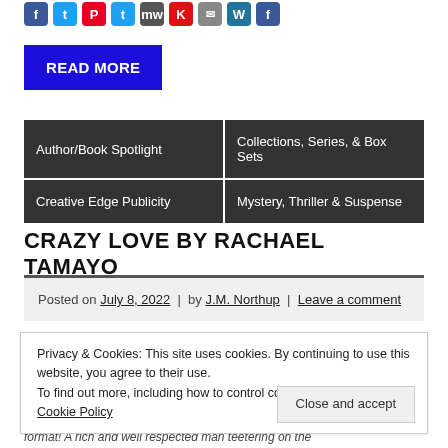[Figure (other): Row of social media sharing icons (Facebook, Twitter, Pinterest, Twitter, MW, K, Email, WordPress, another)]
READ MORE
| Author/Book Spotlight | Collections, Series, & Box Sets |
| Creative Edge Publicity | Mystery, Thriller & Suspense |
CRAZY LOVE BY RACHAEL TAMAYO
Posted on July 8, 2022 | by J.M. Northup | Leave a comment
Privacy & Cookies: This site uses cookies. By continuing to use this website, you agree to their use.
To find out more, including how to control cookies, see here: Cookie Policy
format! A rich and well respected man teetering on the